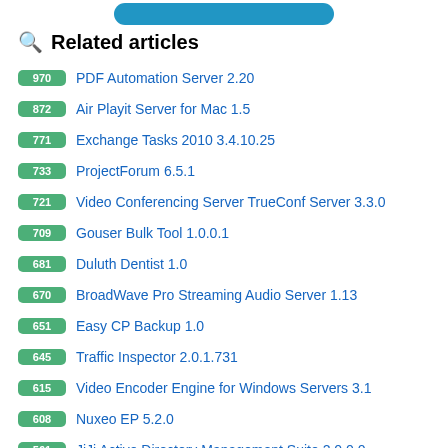[Figure (other): Blue rounded rectangle button at top of page]
🔍 Related articles
970 PDF Automation Server 2.20
872 Air Playit Server for Mac 1.5
771 Exchange Tasks 2010 3.4.10.25
733 ProjectForum 6.5.1
721 Video Conferencing Server TrueConf Server 3.3.0
709 Gouser Bulk Tool 1.0.0.1
681 Duluth Dentist 1.0
670 BroadWave Pro Streaming Audio Server 1.13
651 Easy CP Backup 1.0
645 Traffic Inspector 2.0.1.731
615 Video Encoder Engine for Windows Servers 3.1
608 Nuxeo EP 5.2.0
561 JiJi Active Directory Management Suite 2.0.0.0
536 JiJi Active Directory Reports 4.0.5.1